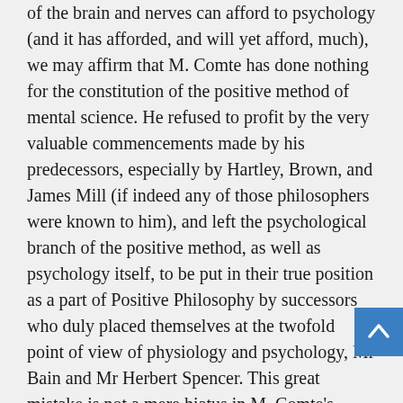of the brain and nerves can afford to psychology (and it has afforded, and will yet afford, much), we may affirm that M. Comte has done nothing for the constitution of the positive method of mental science. He refused to profit by the very valuable commencements made by his predecessors, especially by Hartley, Brown, and James Mill (if indeed any of those philosophers were known to him), and left the psychological branch of the positive method, as well as psychology itself, to be put in their true position as a part of Positive Philosophy by successors who duly placed themselves at the twofold point of view of physiology and psychology, Mr Bain and Mr Herbert Spencer. This great mistake is not a mere hiatus in M. Comte's system, but the parent of serious errors in his attempt to create a Social Science. He is indeed very skilful in estimating the effect of circumstances in moulding general character of the human race; were he not, his historical theory could be of little worth: but in